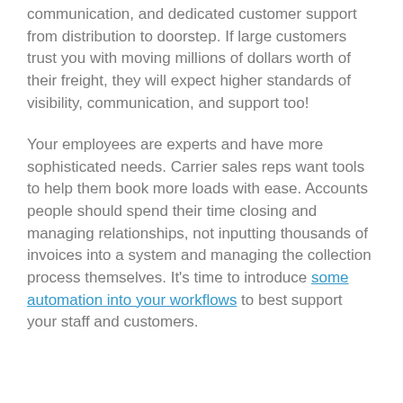communication, and dedicated customer support from distribution to doorstep. If large customers trust you with moving millions of dollars worth of their freight, they will expect higher standards of visibility, communication, and support too!
Your employees are experts and have more sophisticated needs. Carrier sales reps want tools to help them book more loads with ease. Accounts people should spend their time closing and managing relationships, not inputting thousands of invoices into a system and managing the collection process themselves. It's time to introduce some automation into your workflows to best support your staff and customers.